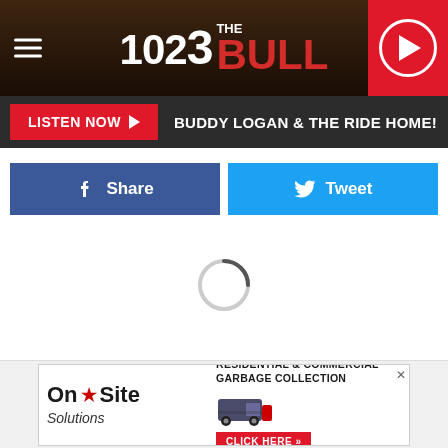[Figure (screenshot): 102.3 The Bull radio station header logo on dark wood-textured background with hamburger menu icon on left and red play button circle on right]
LISTEN NOW ▶  BUDDY LOGAN & THE RIDE HOME!
f  Share
🐦  Tweet
[Figure (other): Loading spinner (circular arc indicating content loading)]
[Figure (other): On★Site Solutions advertisement - RESIDENTIAL & COMMERCIAL GARBAGE COLLECTION - CLICK HERE »]